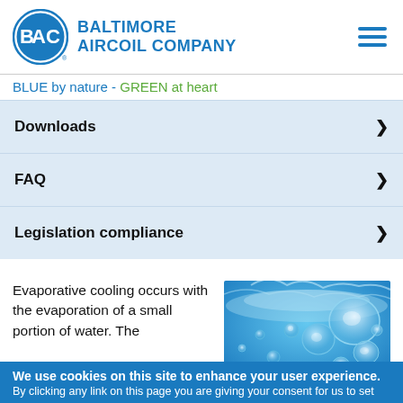[Figure (logo): Baltimore Aircoil Company logo: BAC letters in blue circle with 'BALTIMORE AIRCOIL COMPANY' text]
BLUE by nature - GREEN at heart
Downloads
FAQ
Legislation compliance
Evaporative cooling occurs with the evaporation of a small portion of water. The
[Figure (photo): Close-up photo of water bubbles and splashing water with blue tones]
We use cookies on this site to enhance your user experience.
By clicking any link on this page you are giving your consent for us to set